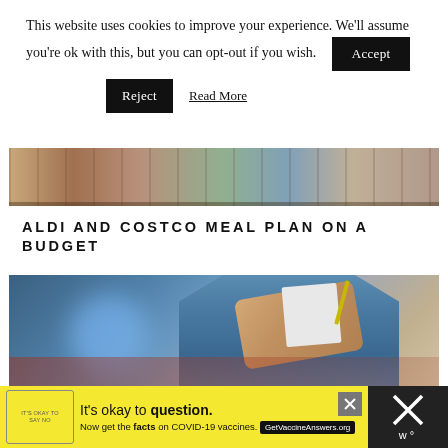This website uses cookies to improve your experience. We'll assume you're ok with this, but you can opt-out if you wish.
[Figure (photo): Cookie consent buttons: Accept (black button), Reject (black button), Read More (underlined link)]
[Figure (photo): Top portion of a grocery store shelf with packaged meats and food products]
ALDI AND COSTCO MEAL PLAN ON A BUDGET
[Figure (photo): Person in blue jacket holding a notepad and pen while pushing a shopping cart in a grocery store]
[Figure (infographic): Yellow advertisement banner: It's okay to question. Now get the facts on COVID-19 vaccines. GetVaccineAnswers.org]